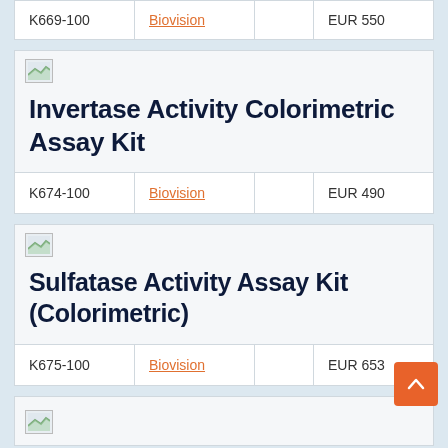| Code | Brand |  | Price |
| --- | --- | --- | --- |
| K669-100 | Biovision |  | EUR 550 |
Invertase Activity Colorimetric Assay Kit
| Code | Brand |  | Price |
| --- | --- | --- | --- |
| K674-100 | Biovision |  | EUR 490 |
Sulfatase Activity Assay Kit (Colorimetric)
| Code | Brand |  | Price |
| --- | --- | --- | --- |
| K675-100 | Biovision |  | EUR 653 |